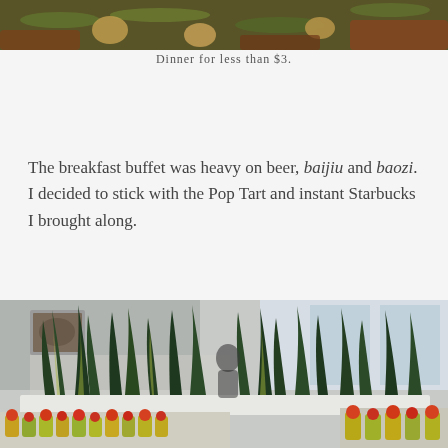[Figure (photo): Close-up photo of a cooked dish with green beans, onions, and meat in a savory sauce]
Dinner for less than $3.
The breakfast buffet was heavy on beer, baijiu and baozi. I decided to stick with the Pop Tart and instant Starbucks I brought along.
[Figure (photo): Interior photo of a buffet restaurant with tall snake plants (sansevieria) as a divider, small jars of condiments on the counter, and bright windows in the background]